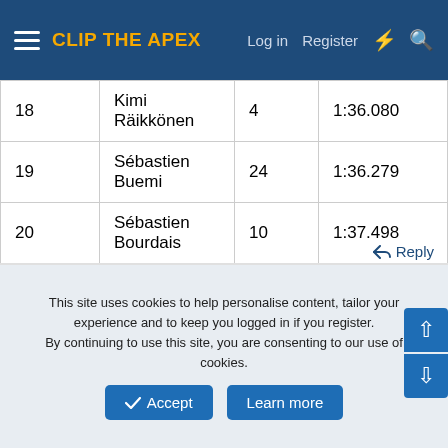CLIP THE APEX | Log in | Register
| # | Name | Laps | Time |
| --- | --- | --- | --- |
| 18 | Kimi Räikkönen | 4 | 1:36.080 |
| 19 | Sébastien Buemi | 24 | 1:36.279 |
| 20 | Sébastien Bourdais | 10 | 1:37.498 |
[Figure (screenshot): Small thumbnail of an F1 Formula Lap 2009 Germany chart document]
Reply
This site uses cookies to help personalise content, tailor your experience and to keep you logged in if you register. By continuing to use this site, you are consenting to our use of cookies.
Accept | Learn more